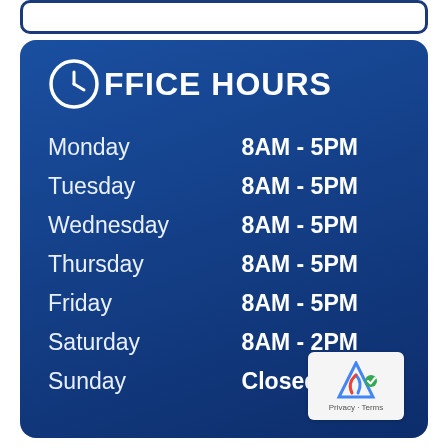OFFICE HOURS
| Day | Hours |
| --- | --- |
| Monday | 8AM - 5PM |
| Tuesday | 8AM - 5PM |
| Wednesday | 8AM - 5PM |
| Thursday | 8AM - 5PM |
| Friday | 8AM - 5PM |
| Saturday | 8AM - 2PM |
| Sunday | Closed |